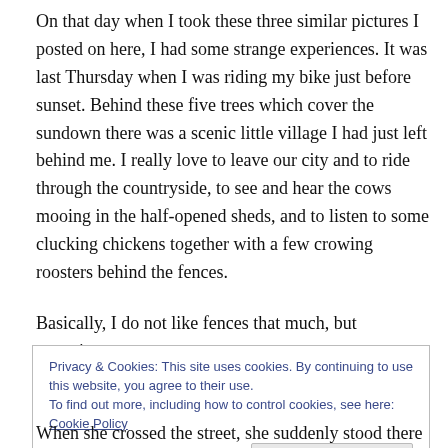On that day when I took these three similar pictures I posted on here, I had some strange experiences. It was last Thursday when I was riding my bike just before sunset. Behind these five trees which cover the sundown there was a scenic little village I had just left behind me. I really love to leave our city and to ride through the countryside, to see and hear the cows mooing in the half-opened sheds, and to listen to some clucking chickens together with a few crowing roosters behind the fences.
Basically, I do not like fences that much, but sometimes
Privacy & Cookies: This site uses cookies. By continuing to use this website, you agree to their use.
To find out more, including how to control cookies, see here: Cookie Policy
Close and accept
When she crossed the street, she suddenly stood there